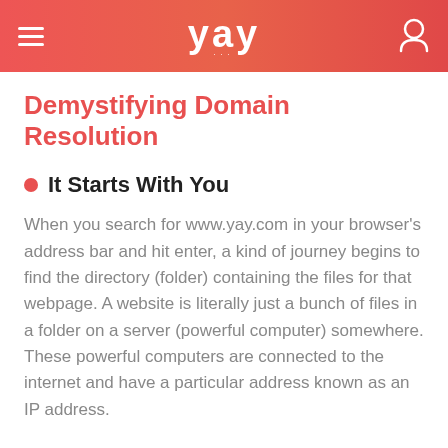yay
Demystifying Domain Resolution
It Starts With You
When you search for www.yay.com in your browser's address bar and hit enter, a kind of journey begins to find the directory (folder) containing the files for that webpage. A website is literally just a bunch of files in a folder on a server (powerful computer) somewhere. These powerful computers are connected to the internet and have a particular address known as an IP address.